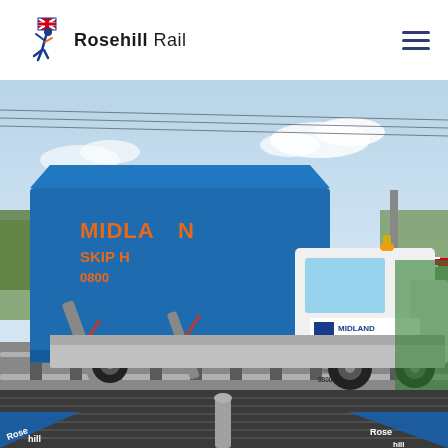[Figure (logo): Rosehill Rail logo with running figure and Union Jack flag motif]
[Figure (photo): A Midland Skip Hire Ltd truck carrying a large blue skip container crossing a level crossing with Rosehill Rail rubber level crossing panels. Railway tracks visible in foreground, barrier gate on right side.]